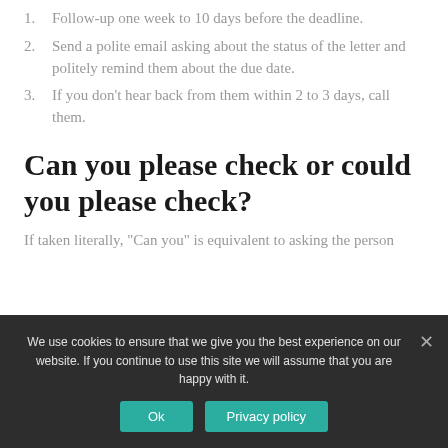1. Follow-up one week to 10 days before the deadline.
2. Send a polite email asking about the status of the letter and politely remind them about the due date.
3. If you don’t hear back from them within 2 to 3 days, call them.
Can you please check or could you please check?
If taken literally, “Can you” is equivalent to asking the person
We use cookies to ensure that we give you the best experience on our website. If you continue to use this site we will assume that you are happy with it.